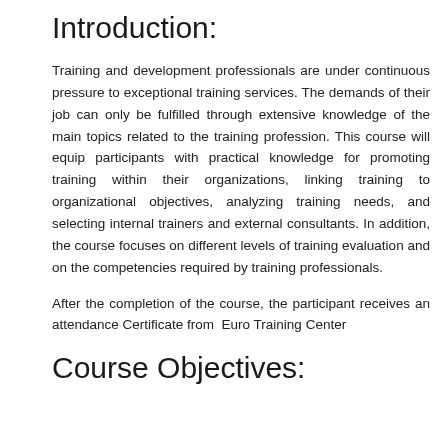Introduction:
Training and development professionals are under continuous pressure to exceptional training services. The demands of their job can only be fulfilled through extensive knowledge of the main topics related to the training profession. This course will equip participants with practical knowledge for promoting training within their organizations, linking training to organizational objectives, analyzing training needs, and selecting internal trainers and external consultants. In addition, the course focuses on different levels of training evaluation and on the competencies required by training professionals.
After the completion of the course, the participant receives an attendance Certificate from  Euro Training Center
Course Objectives: